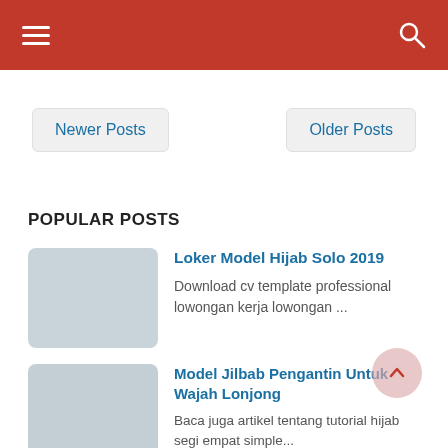Navigation header with hamburger menu and search icon
Newer Posts
Older Posts
POPULAR POSTS
Loker Model Hijab Solo 2019 — Download cv template professional lowongan kerja lowongan ...
Model Jilbab Pengantin Untuk Wajah Lonjong — Baca juga artikel tentang tutorial hijab segi empat simple...
Model Gamis Batik Muslimat Nu